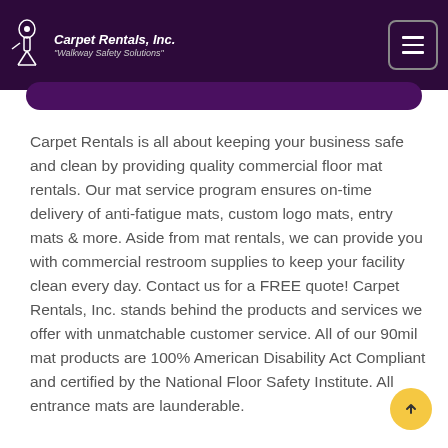Carpet Rentals, Inc. "Walkway Safety Solutions"
Carpet Rentals is all about keeping your business safe and clean by providing quality commercial floor mat rentals. Our mat service program ensures on-time delivery of anti-fatigue mats, custom logo mats, entry mats & more. Aside from mat rentals, we can provide you with commercial restroom supplies to keep your facility clean every day. Contact us for a FREE quote! Carpet Rentals, Inc. stands behind the products and services we offer with unmatchable customer service. All of our 90mil mat products are 100% American Disability Act Compliant and certified by the National Floor Safety Institute. All entrance mats are launderable.